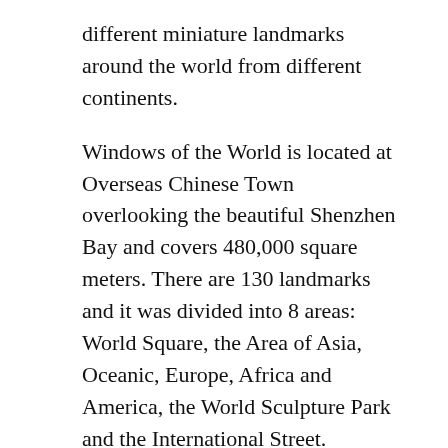different miniature landmarks around the world from different continents.
Windows of the World is located at Overseas Chinese Town overlooking the beautiful Shenzhen Bay and covers 480,000 square meters. There are 130 landmarks and it was divided into 8 areas: World Square, the Area of Asia, Oceanic, Europe, Africa and America, the World Sculpture Park and the International Street.
For Shenzhen City tour click here
June 19, 2020  /  Travel  /  China, Guangdong, peking duck, Shenzhen Bay, Shenzhen City, Windows of the World  /  0 Comments